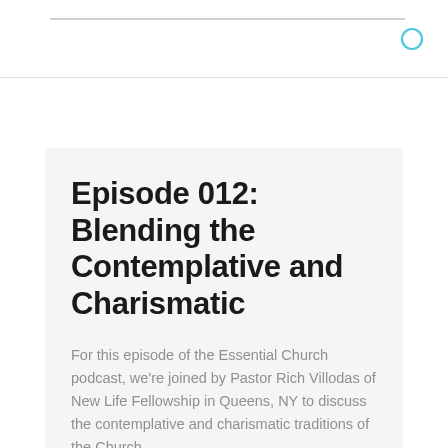Episode 012: Blending the Contemplative and Charismatic
For this episode of the Essential Church podcast, we're joined by Pastor Rich Villodas of New Life Fellowship in Queens, NY to discuss the contemplative and charismatic traditions of the Church.